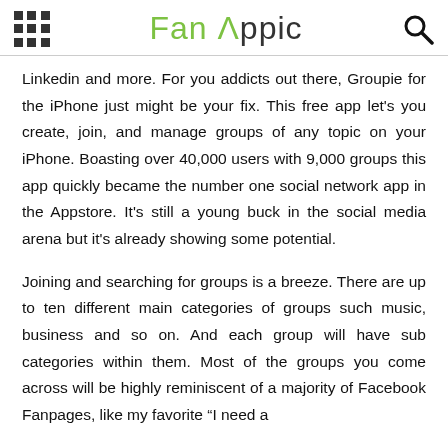Fan Appic
Linkedin and more. For you addicts out there, Groupie for the iPhone just might be your fix. This free app let's you create, join, and manage groups of any topic on your iPhone. Boasting over 40,000 users with 9,000 groups this app quickly became the number one social network app in the Appstore. It's still a young buck in the social media arena but it's already showing some potential.
Joining and searching for groups is a breeze. There are up to ten different main categories of groups such music, business and so on. And each group will have sub categories within them. Most of the groups you come across will be highly reminiscent of a majority of Facebook Fanpages, like my favorite “I need a